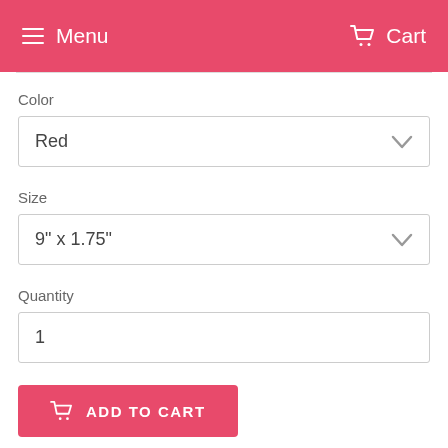Menu   Cart
Color
Red
Size
9" x 1.75"
Quantity
1
ADD TO CART
This style Basin Yarn Dye is the perfect blend of...